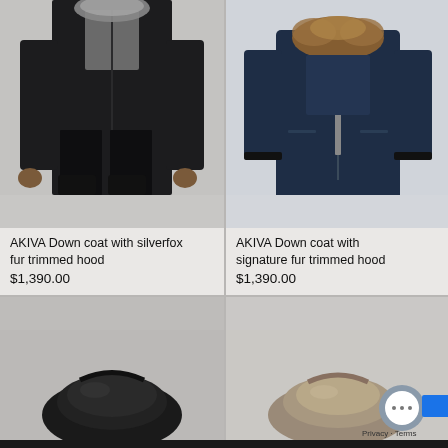[Figure (photo): Product photo of AKIVA dark down coat with silverfox fur trimmed hood, worn by model, dark background]
AKIVA Down coat with silverfox fur trimmed hood
$1,390.00
[Figure (photo): Product photo of AKIVA navy down coat with signature fur trimmed hood, on light blue-grey background]
AKIVA Down coat with signature fur trimmed hood
$1,390.00
[Figure (photo): Product photo of dark/black winter accessory or bag, partially visible at bottom left]
[Figure (photo): Product photo of beige/taupe winter accessory or bag, partially visible at bottom right]